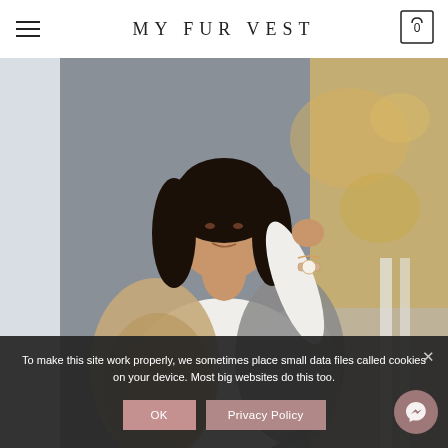MY FUR VEST
[Figure (photo): Woman wearing a fur vest, white sweater, and a rose gold watch, posing outdoors with autumn foliage in background]
To make this site work properly, we sometimes place small data files called cookies on your device. Most big websites do this too.
OK  Privacy Policy